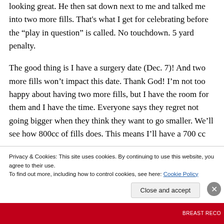looking great. He then sat down next to me and talked me into two more fills. That's what I get for celebrating before the “play in question” is called. No touchdown. 5 yard penalty.
The good thing is I have a surgery date (Dec. 7)! And two more fills won’t impact this date. Thank God! I’m not too happy about having two more fills, but I have the room for them and I have the time. Everyone says they regret not going bigger when they think they want to go smaller. We’ll see how 800cc of fills does. This means I’ll have a 700 cc implant. To wrap up, that would be HUGE, but to
Privacy & Cookies: This site uses cookies. By continuing to use this website, you agree to their use.
To find out more, including how to control cookies, see here: Cookie Policy
Close and accept